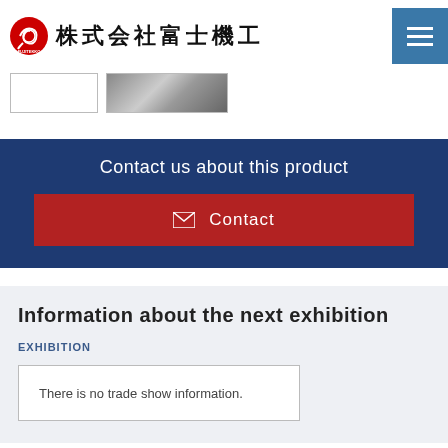株式会社富士機工
[Figure (screenshot): Two thumbnail images: one empty white box with border, one showing a metallic/silver product photo]
Contact us about this product
Contact
Information about the next exhibition
EXHIBITION
There is no trade show information.